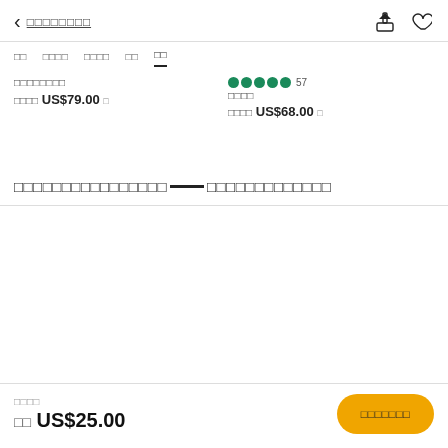< □□□□□□□□
□□  □□□□  □□□□  □□  □□
□□□□□□□□
□□□□ US$79.00 □
57
□□□□
□□□□ US$68.00 □
□□□□□□□□□□□□□□□□——□□□□□□□□□□□□□
□□□□
□□ US$25.00
□□□□□□□